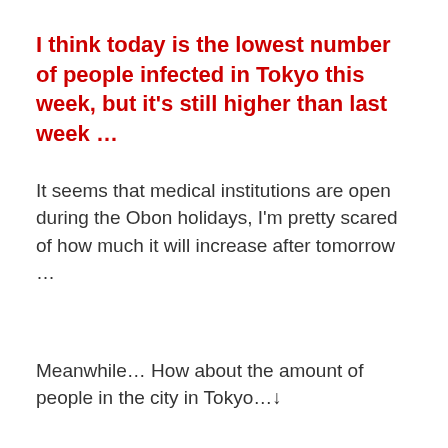I think today is the lowest number of people infected in Tokyo this week, but it's still higher than last week …
It seems that medical institutions are open during the Obon holidays, I'm pretty scared of how much it will increase after tomorrow …
Meanwhile… How about the amount of people in the city in Tokyo…↓